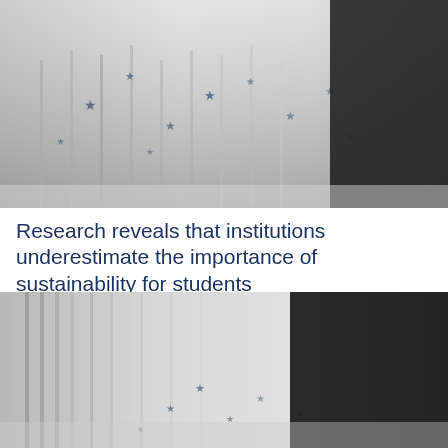[Figure (photo): Black and white photo of a person walking past a wall decorated with star patterns, blurred motion effect]
Research reveals that institutions underestimate the importance of sustainability for students
[Figure (photo): Black and white photo of a person's legs walking on a reflective surface with star-decorated vertical strips, blurred motion effect]